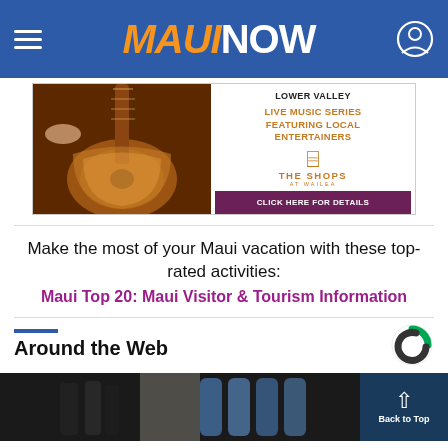MAUI NOW
[Figure (photo): Advertisement for The Shops at Wailea featuring guitar photo and Live Music Series text with Click Here for Details button]
Make the most of your Maui vacation with these top-rated activities:
Maui Top 20: Maui Visitor & Tourism Information
Around the Web
[Figure (photo): Bottom strip image showing dark background with bottles]